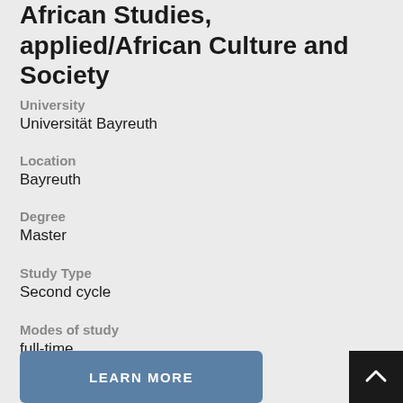African Studies, applied/African Culture and Society
University
Universität Bayreuth
Location
Bayreuth
Degree
Master
Study Type
Second cycle
Modes of study
full-time